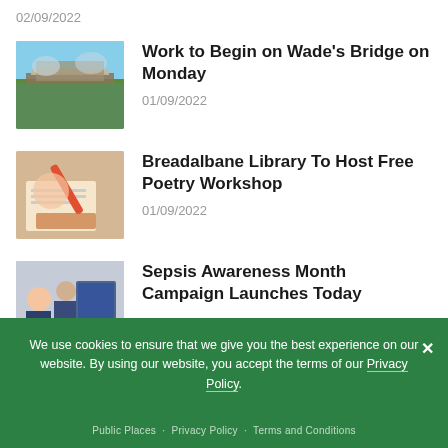02/09/2022
Work to Begin on Wade's Bridge on Monday
01/09/2022
Breadalbane Library To Host Free Poetry Workshop
01/09/2022
Sepsis Awareness Month Campaign Launches Today
We use cookies to ensure that we give you the best experience on our website. By using our website, you accept the terms of our Privacy Policy.
Public Places  Privacy Policy  Terms and Conditions